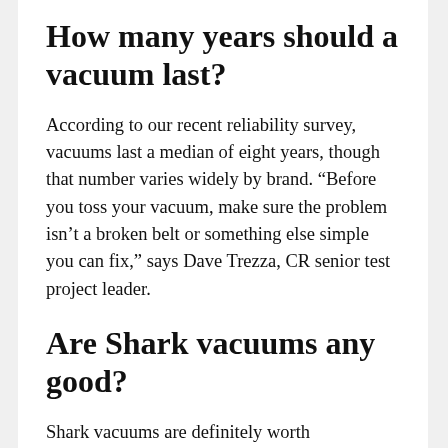How many years should a vacuum last?
According to our recent reliability survey, vacuums last a median of eight years, though that number varies widely by brand. “Before you toss your vacuum, make sure the problem isn’t a broken belt or something else simple you can fix,” says Dave Trezza, CR senior test project leader.
Are Shark vacuums any good?
Shark vacuums are definitely worth considering as an alternative to vacuum brands like Dyson and Vax. Their models tend to be reasonably priced and provide strong suction power. Many